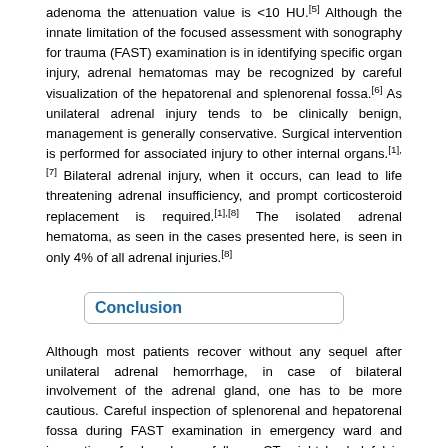adenoma the attenuation value is <10 HU.[5] Although the innate limitation of the focused assessment with sonography for trauma (FAST) examination is in identifying specific organ injury, adrenal hematomas may be recognized by careful visualization of the hepatorenal and splenorenal fossa.[6] As unilateral adrenal injury tends to be clinically benign, management is generally conservative. Surgical intervention is performed for associated injury to other internal organs.[1],[7] Bilateral adrenal injury, when it occurs, can lead to life threatening adrenal insufficiency, and prompt corticosteroid replacement is required.[1],[8] The isolated adrenal hematoma, as seen in the cases presented here, is seen in only 4% of all adrenal injuries.[8]
Conclusion
Although most patients recover without any sequel after unilateral adrenal hemorrhage, in case of bilateral involvement of the adrenal gland, one has to be more cautious. Careful inspection of splenorenal and hepatorenal fossa during FAST examination in emergency ward and inspection of adrenals carefully on CT might be helpful in identifying patients with isolated posttraumatic adrenal hematoma which may be missed otherwise.
Financial support and sponsorship
Nil.